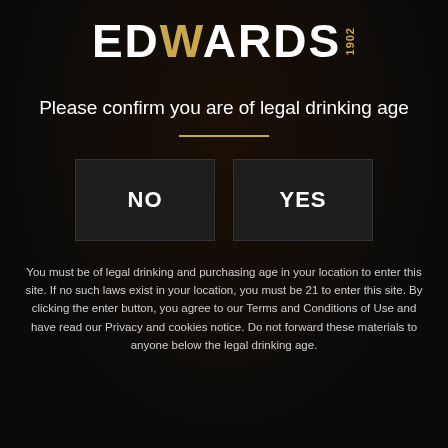[Figure (logo): Edwards 1902 logo with stylized gold W and year]
Please confirm you are of legal drinking age
NO
YES
You must be of legal drinking and purchasing age in your location to enter this site. If no such laws exist in your location, you must be 21 to enter this site. By clicking the enter button, you agree to our Terms and Conditions of Use and have read our Privacy and cookies notice. Do not forward these materials to anyone below the legal drinking age.